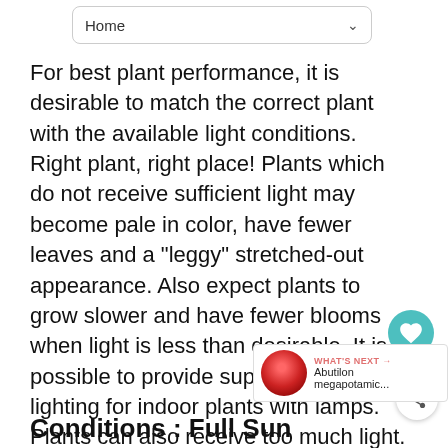Home
For best plant performance, it is desirable to match the correct plant with the available light conditions. Right plant, right place! Plants which do not receive sufficient light may become pale in color, have fewer leaves and a "leggy" stretched-out appearance. Also expect plants to grow slower and have fewer blooms when light is less than desirable. It is possible to provide supplemental lighting for indoor plants with lamps. Plants can also receive too much light. If a shade loving plant is exposed to direct sun, it may wilt and/or cause leaves to be sunburned or otherwise damaged.
Conditions : Full Sun